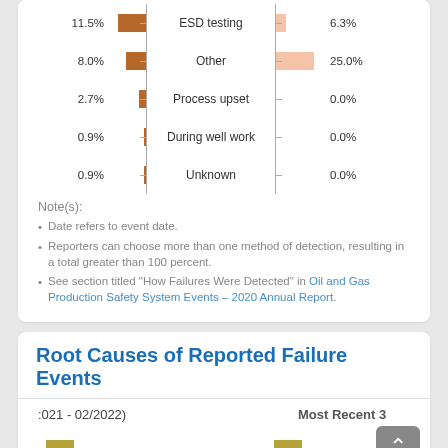[Figure (bar-chart): How Failures Were Detected (partial)]
Note(s):
Date refers to event date.
Reporters can choose more than one method of detection, resulting in a total greater than 100 percent.
See section titled "How Failures Were Detected" in Oil and Gas Production Safety System Events – 2020 Annual Report.
Root Causes of Reported Failure Events
(021 - 02/2022)
Most Recent 3